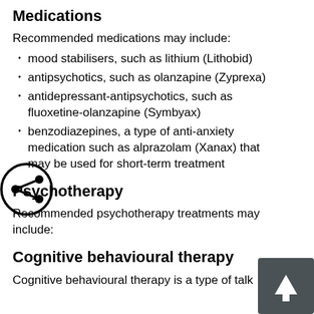Medications
Recommended medications may include:
mood stabilisers, such as lithium (Lithobid)
antipsychotics, such as olanzapine (Zyprexa)
antidepressant-antipsychotics, such as fluoxetine-olanzapine (Symbyax)
benzodiazepines, a type of anti-anxiety medication such as alprazolam (Xanax) that may be used for short-term treatment
Psychotherapy
Recommended psychotherapy treatments may include:
Cognitive behavioural therapy
Cognitive behavioural therapy is a type of talk